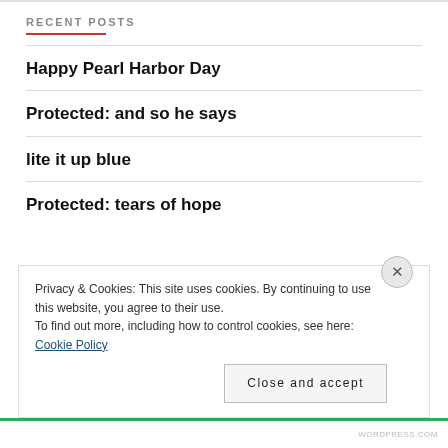RECENT POSTS
Happy Pearl Harbor Day
Protected: and so he says
lite it up blue
Protected: tears of hope
Privacy & Cookies: This site uses cookies. By continuing to use this website, you agree to their use.
To find out more, including how to control cookies, see here: Cookie Policy
Close and accept